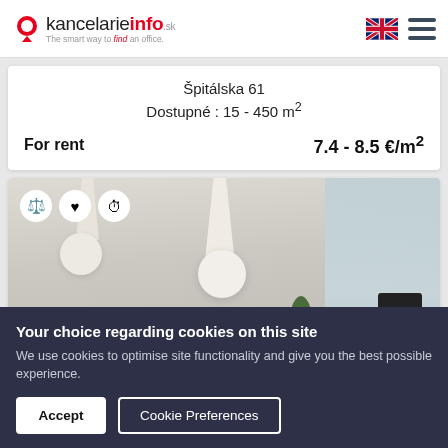kancelarie info.sk — The smart way to find an office.
Špitálska 61
Dostupné : 15 - 450 m²
For rent   7.4 - 8.5 €/m²
[Figure (photo): Office interior showing pendant lamps, white walls, a plant, and a chair near a window]
Your choice regarding cookies on this site
We use cookies to optimise site functionality and give you the best possible experience.
Accept
Cookie Preferences